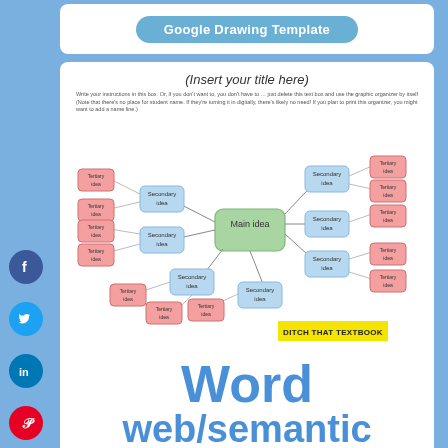Google Drawing Template
[Figure (other): Mind map / word web graphic organizer with Main idea in center (green), Secondary idea nodes (blue), and Tertiary idea nodes (pink/red) connected by lines. Title says (Insert your title here). Branded with DITCH THAT TEXTBOOK logo.]
Word web/semantic